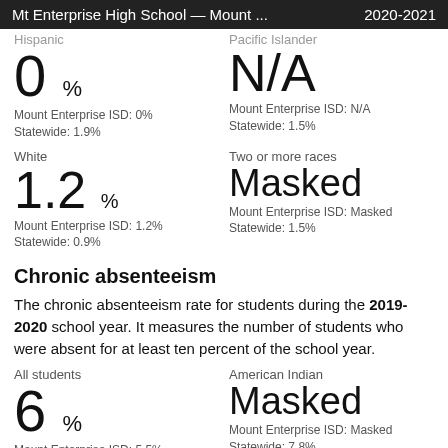Mt Enterprise High School — Mount ... 2020-2021
Hispanic
Pacific Islander
0%
Mount Enterprise ISD: 0%
Statewide: 1.9%
N/A
Mount Enterprise ISD: N/A
Statewide: 1.5%
White
Two or more races
1.2%
Mount Enterprise ISD: 1.2%
Statewide: 0.9%
Masked
Mount Enterprise ISD: Masked
Statewide: 1.5%
Chronic absenteeism
The chronic absenteeism rate for students during the 2019-2020 school year. It measures the number of students who were absent for at least ten percent of the school year.
All students
American Indian
6%
Mount Enterprise ISD: 5.5%
Statewide: 6.7%
Masked
Mount Enterprise ISD: Masked
Statewide: 7.8%